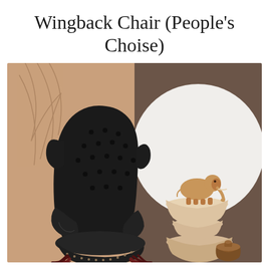Wingback Chair (People's Choise)
[Figure (photo): A black tufted leather wingback chair with dark mahogany legs on the left half, set against a warm tan/beige background with palm leaf shadows. On the right half, against a dark brownish-taupe background with a large white circle, there are stacked ceramic bowls topped with a golden elephant figurine, and a small brown ceramic jar at the bottom right.]